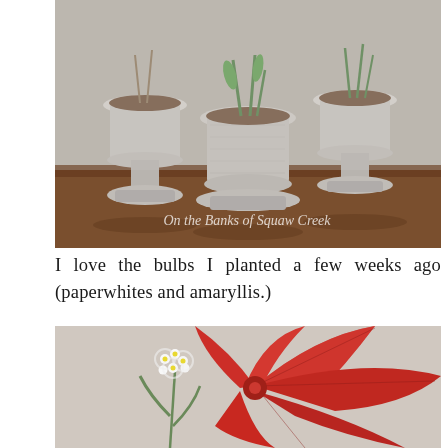[Figure (photo): Three white ceramic pedestal pots with bulb plants (paperwhites and amaryllis sprouts) on a wooden surface. Watermark text reads 'On the Banks of Squaw Creek' in cursive.]
I love the bulbs I planted a few weeks ago (paperwhites and amaryllis.)
[Figure (photo): Close-up photograph of a blooming red amaryllis flower with white paperwhite flowers visible to the left side, soft blurred background.]